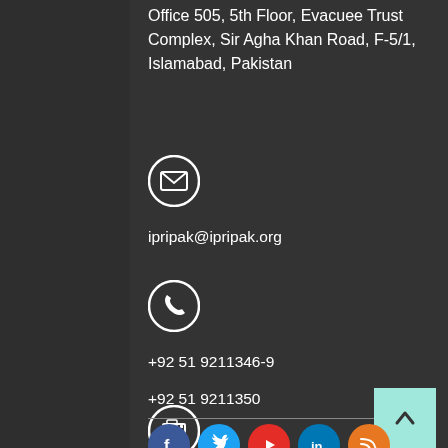Office 505, 5th Floor, Evacuee Trust Complex, Sir Agha Khan Road, F-5/1, Islamabad, Pakistan
[Figure (illustration): Email icon in a white circle on dark background]
ipripak@ipripak.org
[Figure (illustration): Phone icon in a white circle on dark background]
+92 51 9211346-9
[Figure (illustration): Fax/printer icon in a white circle on dark background]
+92 51 9211350
[Figure (illustration): Scroll-to-top button (teal/turquoise square with upward arrow)]
[Figure (illustration): Social media icons row: Facebook (blue), Twitter (cyan), YouTube (red), LinkedIn (teal), RSS (orange)]